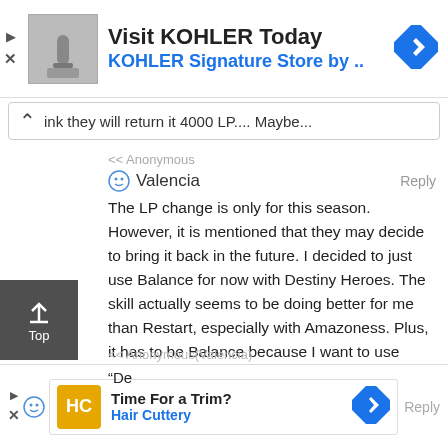[Figure (other): Advertisement banner for KOHLER: image of a sink/faucet, text 'Visit KOHLER Today' and 'KOHLER Signature Store by ..' with a blue navigation arrow icon]
ink they will return it 4000 LP.... Maybe...
<< Anonymous
Valencia   Reply
The LP change is only for this season. However, it is mentioned that they may decide to bring it back in the future. I decided to just use Balance for now with Destiny Heroes. The skill actually seems to be doing better for me than Restart, especially with Amazoness. Plus, it has to be Balance because I want to use Aster most of the time.
<< Anonymous(Valencia)
[Figure (other): Advertisement for Hair Cuttery: 'Time For a Trim?' with HC logo in yellow/gold and blue navigation arrow icon]
Reply
"De